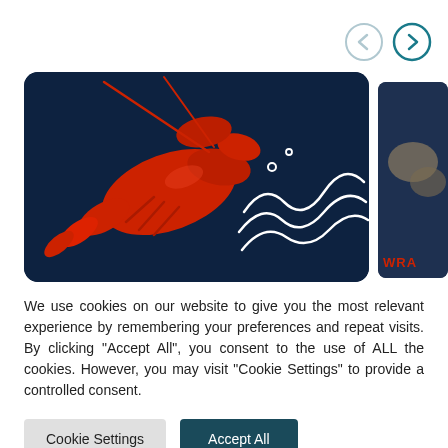[Figure (other): Navigation carousel with previous (left arrow) and next (right arrow) circular button icons in teal/grey]
[Figure (photo): A red lobster on a dark navy blue background with white wave line illustration on the right side of the card]
We use cookies on our website to give you the most relevant experience by remembering your preferences and repeat visits. By clicking “Accept All”, you consent to the use of ALL the cookies. However, you may visit "Cookie Settings" to provide a controlled consent.
Cookie Settings
Accept All